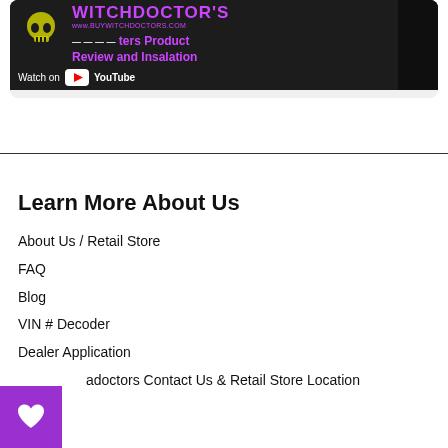[Figure (screenshot): YouTube video thumbnail for Witch Doctors product review and installation video, showing 'Watch on YouTube' bar and purple text overlay with www.buywitchdoctors.com URL]
Learn More About Us
About Us / Retail Store
FAQ
Blog
VIN # Decoder
Dealer Application
itchdoctors Contact Us & Retail Store Location